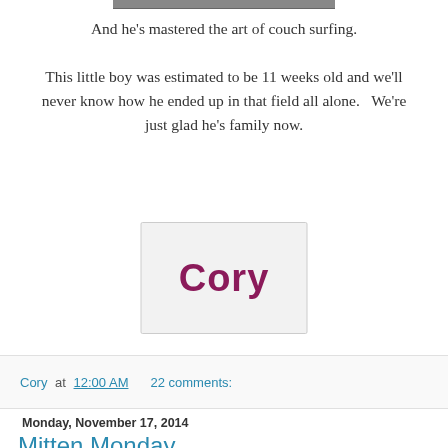[Figure (photo): Partial top edge of a photo, cropped at top of page]
And he's mastered the art of couch surfing.
This little boy was estimated to be 11 weeks old and we'll never know how he ended up in that field all alone.   We're just glad he's family now.
[Figure (illustration): Signature image of the name 'Cory' written in dark pink/magenta handwritten script on a light gray background with a border]
Cory at 12:00 AM    22 comments:
Monday, November 17, 2014
Mitten Monday
[Figure (photo): Partial photo of a cat, cropped at bottom of page]